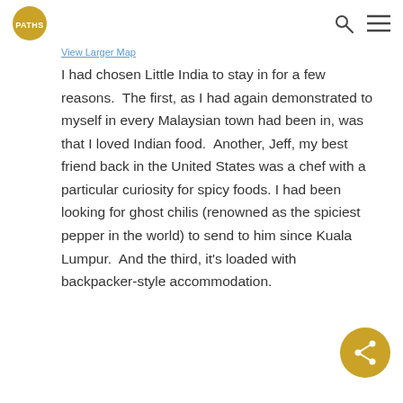PATHS (logo) | search icon | menu icon
View Larger Map
I had chosen Little India to stay in for a few reasons.  The first, as I had again demonstrated to myself in every Malaysian town had been in, was that I loved Indian food.  Another, Jeff, my best friend back in the United States was a chef with a particular curiosity for spicy foods. I had been looking for ghost chilis (renowned as the spiciest pepper in the world) to send to him since Kuala Lumpur.  And the third, it’s loaded with backpacker-style accommodation.